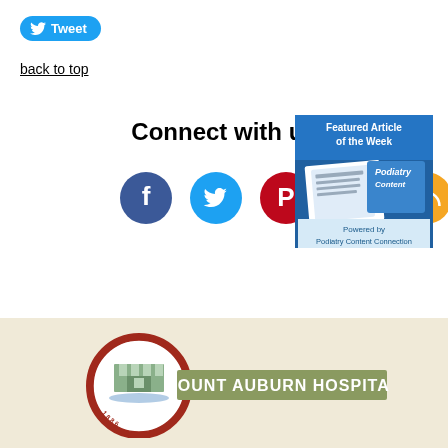Tweet
back to top
Connect with us
[Figure (infographic): Row of five social media circular icon buttons: Facebook (dark blue), Twitter (light blue), Pinterest (red), LinkedIn (blue), RSS (orange)]
[Figure (screenshot): Featured Article of the Week banner powered by Podiatry Content Connection]
[Figure (logo): Mount Auburn Hospital logo with seal and text on olive/green banner]